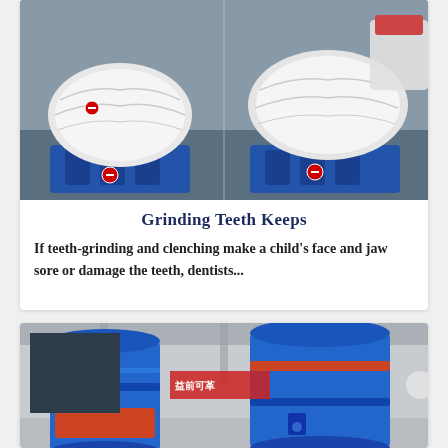[Figure (photo): Industrial machines wrapped in white plastic/packaging material, sitting on blue bases, in a factory or warehouse setting. Two machines visible side by side.]
Grinding Teeth Keeps
If teeth-grinding and clenching make a child's face and jaw sore or damage the teeth, dentists...
[Figure (photo): Large industrial cylindrical containers/silos in blue and orange colors inside a factory building. Chinese text visible on a banner in the background.]